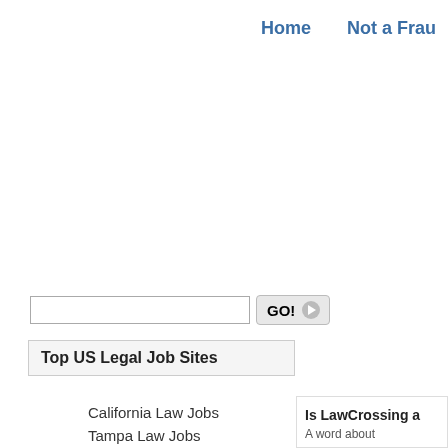Home    Not a Fraud
GO!
Top US Legal Job Sites
California Law Jobs
Tampa Law Jobs
Is LawCrossing a